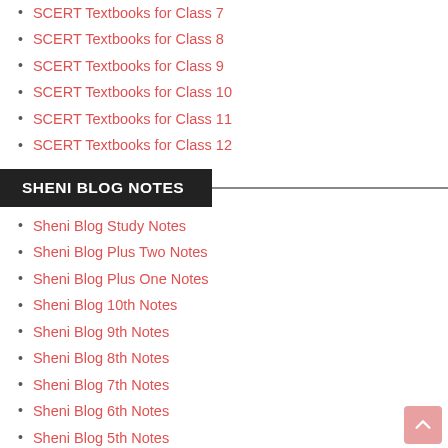SCERT Textbooks for Class 7
SCERT Textbooks for Class 8
SCERT Textbooks for Class 9
SCERT Textbooks for Class 10
SCERT Textbooks for Class 11
SCERT Textbooks for Class 12
SHENI BLOG NOTES
Sheni Blog Study Notes
Sheni Blog Plus Two Notes
Sheni Blog Plus One Notes
Sheni Blog 10th Notes
Sheni Blog 9th Notes
Sheni Blog 8th Notes
Sheni Blog 7th Notes
Sheni Blog 6th Notes
Sheni Blog 5th Notes
Sheni Blog 4th Notes
Sheni Blog 3rd Notes
Sheni Blog 2nd Notes
Sheni Blog 1st Notes
Sheni Blog Malayalam Notes
Sheni Blog Maths Notes
Sheni Blog Physics Notes
Sheni Blog English Notes